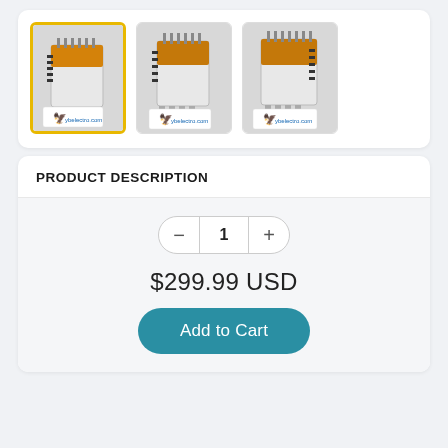[Figure (photo): Three product thumbnail images of an electronic safety relay module (white metal housing with orange/yellow PCB top and black connectors), shown from slightly different angles. The first image has a yellow border indicating it is selected. Each image shows a blue logo card in front of the device.]
PRODUCT DESCRIPTION
[Figure (other): Quantity selector control showing minus button, the number 1, and plus button, followed by a price of $299.99 USD and an Add to Cart button]
$299.99 USD
Add to Cart